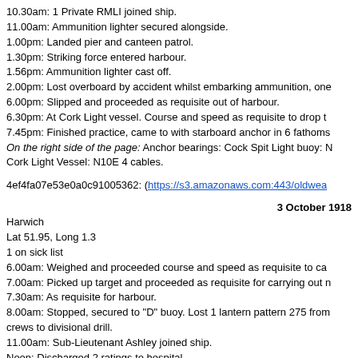10.30am: 1 Private RMLI joined ship.
11.00am: Ammunition lighter secured alongside.
1.00pm: Landed pier and canteen patrol.
1.30pm: Striking force entered harbour.
1.56pm: Ammunition lighter cast off.
2.00pm: Lost overboard by accident whilst embarking ammunition, one
6.00pm: Slipped and proceeded as requisite out of harbour.
6.30pm: At Cork Light vessel. Course and speed as requisite to drop t
7.45pm: Finished practice, came to with starboard anchor in 6 fathoms
On the right side of the page: Anchor bearings: Cock Spit Light buoy: N Cork Light Vessel: N10E 4 cables.
4ef4fa07e53e0a0c91005362: (https://s3.amazonaws.com:443/oldwea…)
3 October 1918
Harwich
Lat 51.95, Long 1.3
1 on sick list
6.00am: Weighed and proceeded course and speed as requisite to ca
7.00am: Picked up target and proceeded as requisite for carrying out n
7.30am: As requisite for harbour.
8.00am: Stopped, secured to "D" buoy. Lost 1 lantern pattern 275 from crews to divisional drill.
11.00am: Sub-Lieutenant Ashley joined ship.
Noon: Discharged 2 ratings to hospital.
1.00pm: Paid Quarterly settlement.
2.20pm: 6 TBDs left harbour. Striking force returned.
3.40pm: Striking force sailed.
5.00pm: Prepared for sea.
6.00pm: Slipped and proceeded as requisite out of harbour.